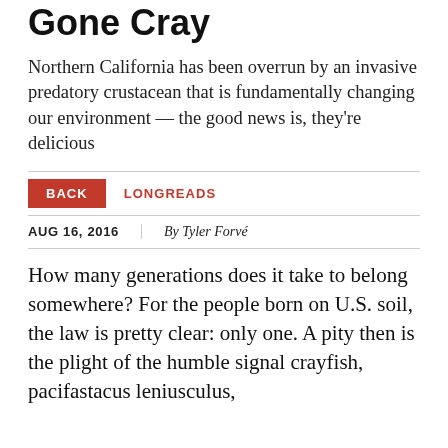Gone Cray
Northern California has been overrun by an invasive predatory crustacean that is fundamentally changing our environment — the good news is, they're delicious
BACK  LONGREADS  AUG 16, 2016  By Tyler Forvé
How many generations does it take to belong somewhere? For the people born on U.S. soil, the law is pretty clear: only one. A pity then is the plight of the humble signal crayfish, pacifastacus leniusculus,